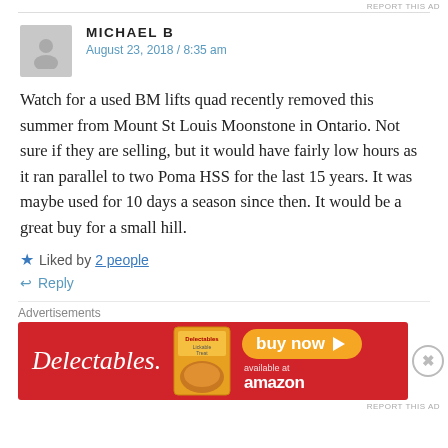REPORT THIS AD
MICHAEL B
August 23, 2018 / 8:35 am
Watch for a used BM lifts quad recently removed this summer from Mount St Louis Moonstone in Ontario. Not sure if they are selling, but it would have fairly low hours as it ran parallel to two Poma HSS for the last 15 years. It was maybe used for 10 days a season since then. It would be a great buy for a small hill.
Liked by 2 people
Reply
Advertisements
[Figure (photo): Delectables cat treat advertisement banner with red background, product image, and buy now button linking to Amazon]